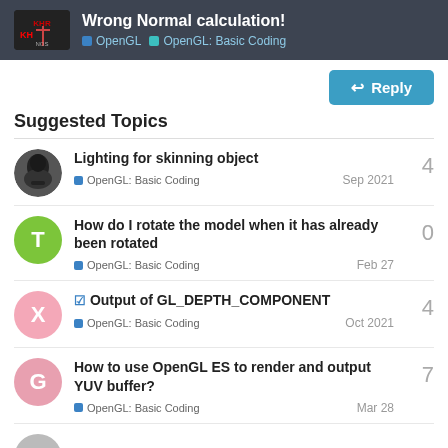Wrong Normal calculation! | OpenGL | OpenGL: Basic Coding
Suggested Topics
Lighting for skinning object | OpenGL: Basic Coding | Sep 2021 | replies: 4
How do I rotate the model when it has already been rotated | OpenGL: Basic Coding | Feb 27 | replies: 0
Output of GL_DEPTH_COMPONENT | OpenGL: Basic Coding | Oct 2021 | replies: 4
How to use OpenGL ES to render and output YUV buffer? | OpenGL: Basic Coding | Mar 28 | replies: 7